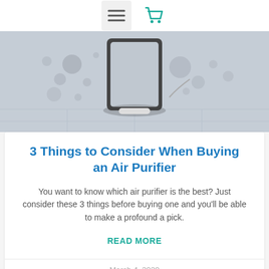☰ 🛒
[Figure (photo): Air purifier device on a light grey tiled surface with floating particles/blobs in the background, suggesting air purification]
3 Things to Consider When Buying an Air Purifier
You want to know which air purifier is the best? Just consider these 3 things before buying one and you'll be able to make a profound a pick.
READ MORE
March 4, 2020